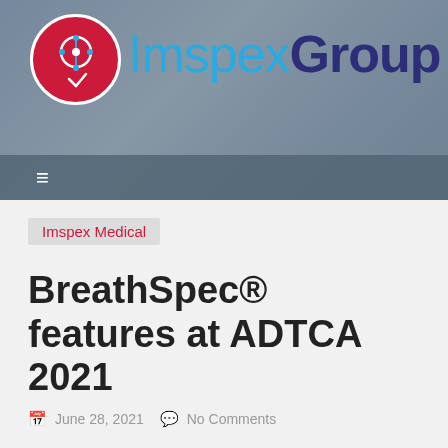[Figure (logo): ImspexGroup logo with red circular icon and brand name in blue and dark blue]
ImspexGroup
Imspex Medical
BreathSpec® features at ADTCA 2021
June 28, 2021   No Comments
#ADTCA2021 saw more than 75 delegates from 23 countries gather online on 24 June 2021 to discuss how data tech can be used to prevent,